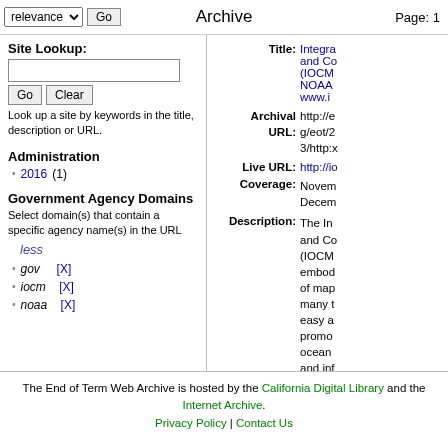relevance [dropdown] Go | Archive | Page: 1
Site Lookup:
Look up a site by keywords in the title, description or URL.
Administration
2016 (1)
Government Agency Domains
Select domain(s) that contain a specific agency name(s) in the URL
less
gov [X]
iocm [X]
noaa [X]
Title: Integra... and Co... (IOCM... NOAA... www.i...
Archival URL: http://e... g/eot/2... 3/http:x...
Live URL: http://io...
Coverage: November... December...
Description: The In... and Co... (IOCM... embod... of map... many t... easy a... promo... ocean... and inf...
The End of Term Web Archive is hosted by the California Digital Library and the Internet Archive. Privacy Policy | Contact Us